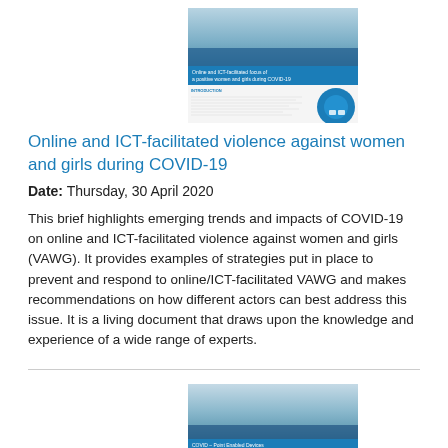[Figure (screenshot): Thumbnail image of the document 'Online and ICT-facilitated violence against women and girls during COVID-19' showing a cover photo and introduction page]
Online and ICT-facilitated violence against women and girls during COVID-19
Date: Thursday, 30 April 2020
This brief highlights emerging trends and impacts of COVID-19 on online and ICT-facilitated violence against women and girls (VAWG). It provides examples of strategies put in place to prevent and respond to online/ICT-facilitated VAWG and makes recommendations on how different actors can best address this issue. It is a living document that draws upon the knowledge and experience of a wide range of experts.
[Figure (screenshot): Thumbnail image of a second related document about COVID-19 and prevention of violence against women and girls, showing a cover and introduction page]